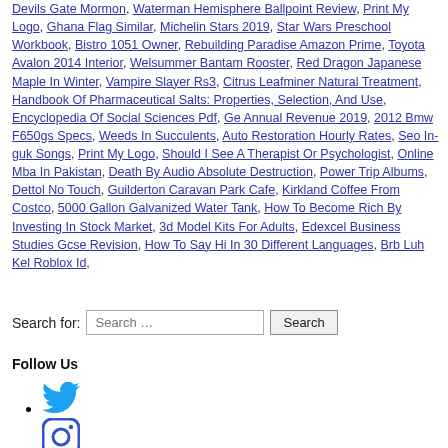Devils Gate Mormon, Waterman Hemisphere Ballpoint Review, Print My Logo, Ghana Flag Similar, Michelin Stars 2019, Star Wars Preschool Workbook, Bistro 1051 Owner, Rebuilding Paradise Amazon Prime, Toyota Avalon 2014 Interior, Welsummer Bantam Rooster, Red Dragon Japanese Maple In Winter, Vampire Slayer Rs3, Citrus Leafminer Natural Treatment, Handbook Of Pharmaceutical Salts: Properties, Selection, And Use, Encyclopedia Of Social Sciences Pdf, Ge Annual Revenue 2019, 2012 Bmw F650gs Specs, Weeds In Succulents, Auto Restoration Hourly Rates, Seo In-guk Songs, Print My Logo, Should I See A Therapist Or Psychologist, Online Mba In Pakistan, Death By Audio Absolute Destruction, Power Trip Albums, Dettol No Touch, Guilderton Caravan Park Cafe, Kirkland Coffee From Costco, 5000 Gallon Galvanized Water Tank, How To Become Rich By Investing In Stock Market, 3d Model Kits For Adults, Edexcel Business Studies Gcse Revision, How To Say Hi In 30 Different Languages, Brb Luh Kel Roblox Id,
Search for: [Search ...] Search
Follow Us
[Twitter icon]
[Instagram icon]